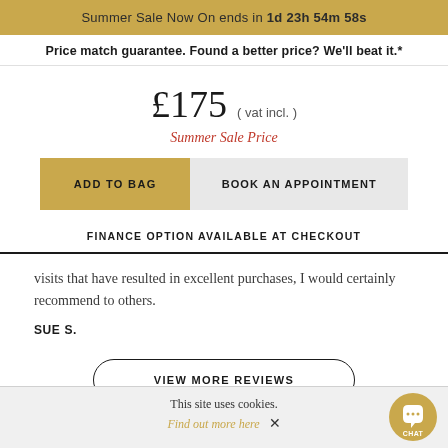Summer Sale Now On ends in 1d 23h 54m 58s
Price match guarantee. Found a better price? We'll beat it.*
£175 ( vat incl. )
Summer Sale Price
ADD TO BAG
BOOK AN APPOINTMENT
FINANCE OPTION AVAILABLE AT CHECKOUT
visits that have resulted in excellent purchases, I would certainly recommend to others.
SUE S.
VIEW MORE REVIEWS
This site uses cookies. Find out more here ✕